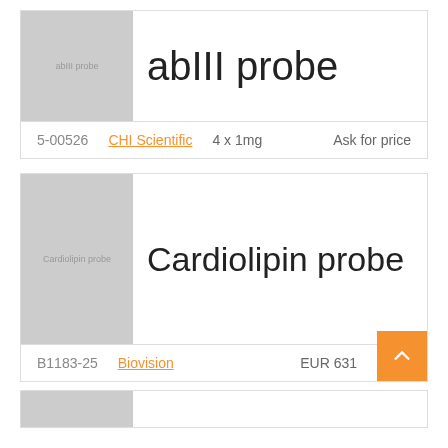[Figure (photo): Gray placeholder image for abIII probe product]
abIII probe
5-00526   CHI Scientific   4 x 1mg   Ask for price
[Figure (photo): Gray placeholder image for Cardiolipin probe product]
Cardiolipin probe
B1183-25   Biovision   EUR 631
[Figure (photo): Gray placeholder image for third product (partially visible)]